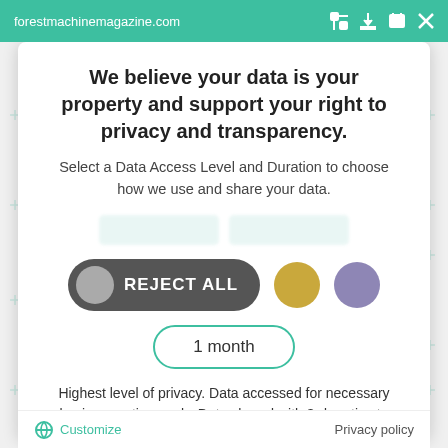forestmachinemagazine.com
We believe your data is your property and support your right to privacy and transparency.
Select a Data Access Level and Duration to choose how we use and share your data.
[Figure (infographic): Consent options row: REJECT ALL button (dark grey pill with grey circle icon), gold circle button, purple circle button]
1 month
Highest level of privacy. Data accessed for necessary basic operations only. Data shared with 3rd parties to ensure the site is secure and works on your device
Save my preferences
Customize   Privacy policy